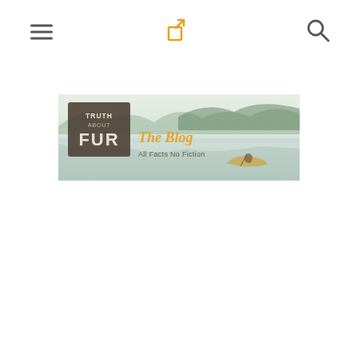Navigation header with hamburger menu, share icon, and search icon
[Figure (logo): Truth About Fur – The Blog, All Facts No Fiction banner image with a lake and canoe scene in muted tones]